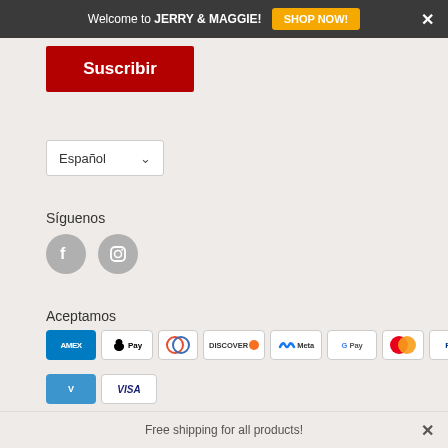Welcome to JERRY & MAGGIE! SHOP NOW! ×
Suscribir
Español ∨
Síguenos
[Figure (logo): Facebook and Instagram social media icons (grey circles)]
Aceptamos
[Figure (logo): Payment method icons: AMEX, Apple Pay, Diners Club, Discover, Meta Pay, Google Pay, Mastercard, PayPal, ShopPay, Venmo, VISA]
Free shipping for all products! ×